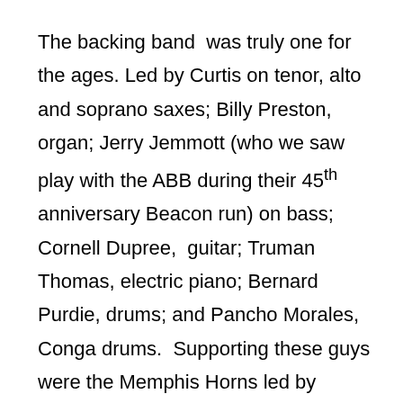The backing band  was truly one for the ages. Led by Curtis on tenor, alto and soprano saxes; Billy Preston, organ; Jerry Jemmott (who we saw play with the ABB during their 45th anniversary Beacon run) on bass; Cornell Dupree,  guitar; Truman Thomas, electric piano; Bernard Purdie, drums; and Pancho Morales, Conga drums.  Supporting these guys were the Memphis Horns led by Wayne Jackson and Roger Hopps, trumpet; Andrew Love and Lou Collins, tenor sax; Jack Hale, trombone; and Jimmy Mitchell, baritone sax.
The King Curtis album created quite a ripple among my friends and 45 years later it has stood the test of time. When it was released much of the buzz focused on the